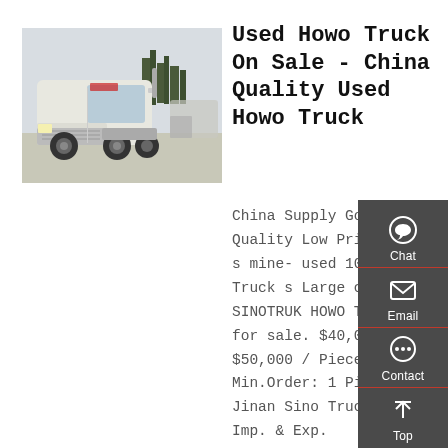[Figure (photo): A white SINOTRUK HOWO semi-truck / tractor unit parked outdoors, with trees in the background]
Used Howo Truck On Sale - China Quality Used Howo Truck
China Supply Good Quality Low Price Trucks mine- used 10wheel Truck s Large capacity SINOTRUK HOWO Truck DUMP for sale. $40,000 - $50,000 / Piece. Min.Order: 1 Pieces. Jinan Sino Truck Parts Imp. & Exp.